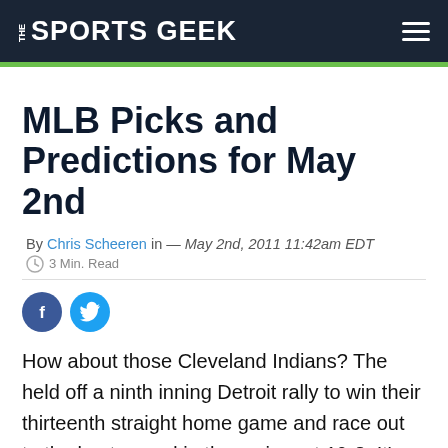THE SPORTS GEEK
MLB Picks and Predictions for May 2nd
By Chris Scheeren in — May 2nd, 2011 11:42am EDT
3 Min. Read
[Figure (other): Facebook and Twitter social share buttons]
How about those Cleveland Indians? The held off a ninth inning Detroit rally to win their thirteenth straight home game and race out to the best record in the majors at 19-8. It's been a few years since there was any excitement at old Jacobs Field. For a city that has suffered more as a sports town than any other the past three years, it is nice to see the Tribe off to such an